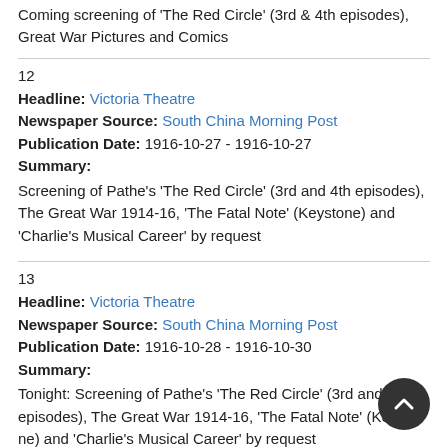Coming screening of 'The Red Circle' (3rd & 4th episodes), Great War Pictures and Comics
12
Headline: Victoria Theatre
Newspaper Source: South China Morning Post
Publication Date: 1916-10-27 - 1916-10-27
Summary:
Screening of Pathe's 'The Red Circle' (3rd and 4th episodes), The Great War 1914-16, 'The Fatal Note' (Keystone) and 'Charlie's Musical Career' by request
13
Headline: Victoria Theatre
Newspaper Source: South China Morning Post
Publication Date: 1916-10-28 - 1916-10-30
Summary:
Tonight: Screening of Pathe's 'The Red Circle' (3rd and 4th episodes), The Great War 1914-16, 'The Fatal Note' (Keystone) and 'Charlie's Musical Career' by request